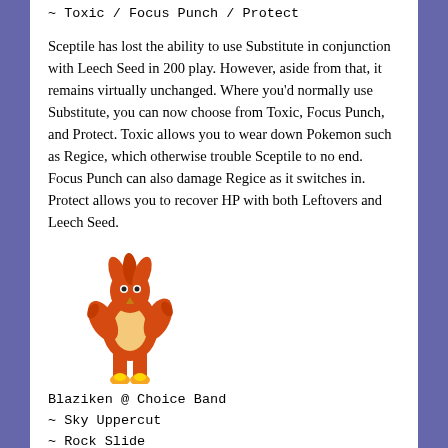~ Toxic / Focus Punch / Protect
Sceptile has lost the ability to use Substitute in conjunction with Leech Seed in 200 play. However, aside from that, it remains virtually unchanged. Where you'd normally use Substitute, you can now choose from Toxic, Focus Punch, and Protect. Toxic allows you to wear down Pokemon such as Regice, which otherwise trouble Sceptile to no end. Focus Punch can also damage Regice as it switches in. Protect allows you to recover HP with both Leftovers and Leech Seed.
[Figure (illustration): Blaziken Pokemon sprite/illustration, a fire/fighting type bipedal bird Pokemon with orange and cream feathers and flame feet]
Blaziken @ Choice Band
~ Sky Uppercut
~ Rock Slide
~ Focus Punch
~ Fire Blast / Overheat
Although Blaziken lost ThunderPunch and Swords Dance, it is still a great anti-metagame Pokemon. Don't be tempted to use Reversal - though it is still obtainable, Salac Berry is not. Sky Uppercut provides STAB, while Rock Slide hits Flying-type Pokemon. Focus Punch can really hurt Pokemon that switch in to Blaziken, provided they aren't immune to the hit. Both Fire Blast and Overheat allow Blaziken to OHKO Skarmory; the former